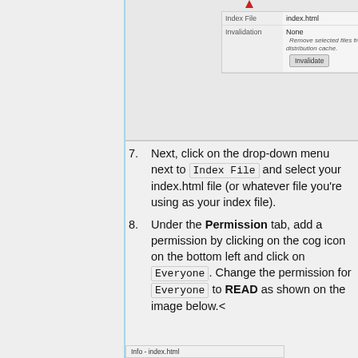[Figure (screenshot): Screenshot of AWS CloudFront or S3 distribution settings panel showing Index File set to index.html and Invalidation set to None, with a red marker arrow and an Invalidate button.]
Next, click on the drop-down menu next to Index File and select your index.html file (or whatever file you're using as your index file).
Under the Permission tab, add a permission by clicking on the cog icon on the bottom left and click on Everyone. Change the permission for Everyone to READ as shown on the image below.<
[Figure (screenshot): Mini screenshot showing 'Info - index.html' label at the bottom of the page.]